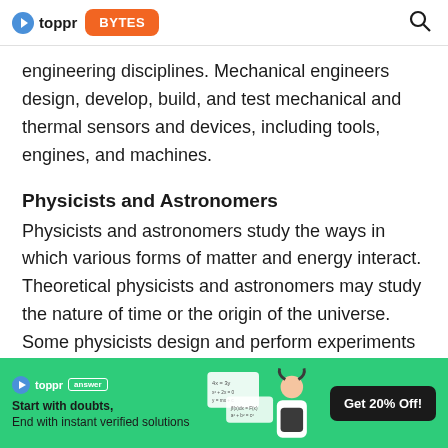toppr BYTES
engineering disciplines. Mechanical engineers design, develop, build, and test mechanical and thermal sensors and devices, including tools, engines, and machines.
Physicists and Astronomers
Physicists and astronomers study the ways in which various forms of matter and energy interact. Theoretical physicists and astronomers may study the nature of time or the origin of the universe. Some physicists design and perform experiments with sophisticated equipment such as particle accelerators, electron microscopes, and lasers.
[Figure (infographic): Toppr answer app advertisement banner with green background. Shows toppr answer logo, text 'Start with doubts, End with instant verified solutions', an image of a student, notebook with equations, and a 'Get 20% Off!' call-to-action button.]